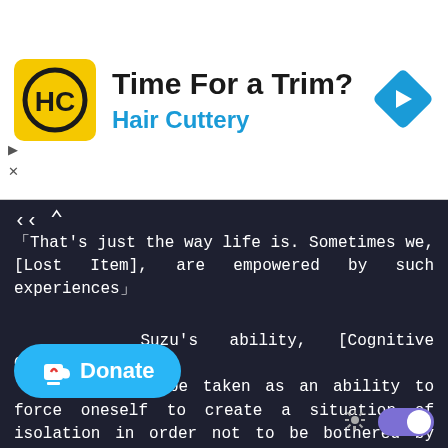[Figure (screenshot): Hair Cuttery advertisement banner with yellow logo featuring HC letters, title 'Time For a Trim?', subtitle 'Hair Cuttery' in blue, and a blue navigation arrow icon on the right.]
「That's just the way life is. Sometimes we, [Lost Item], are empowered by such experiences」
Suzu's ability, [Cognitive Obstruction].
    It could be taken as an ability to force oneself to create a situation of isolation in order not to be bothered by anyone else. If so, it may have been born relatively recently.
「It's the same for me. I can't tolerate the one-sidedness of the principal」
「 You're all so kind」
Suzu wipes tears from her eyes and looks up.
[Figure (other): Ko-fi Donate button in blue with heart cup icon, and a dark mode toggle switch with sun icon.]